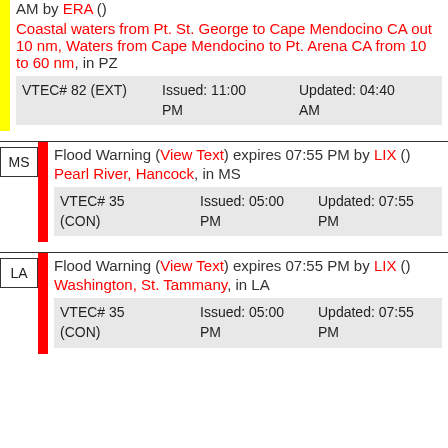AM by ERA ()
Coastal waters from Pt. St. George to Cape Mendocino CA out 10 nm, Waters from Cape Mendocino to Pt. Arena CA from 10 to 60 nm, in PZ
VTEC# 82 (EXT) Issued: 11:00 PM  Updated: 04:40 AM
Flood Warning (View Text) expires 07:55 PM by LIX ()
Pearl River, Hancock, in MS
VTEC# 35 (CON) Issued: 05:00 PM  Updated: 07:55 PM
Flood Warning (View Text) expires 07:55 PM by LIX ()
Washington, St. Tammany, in LA
VTEC# 35 (CON) Issued: 05:00 PM  Updated: 07:55 PM